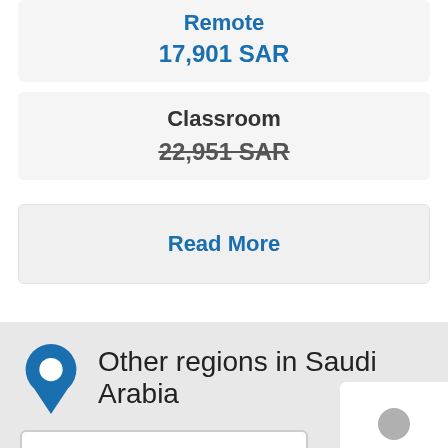Remote
17,901 SAR
Classroom
22,951 SAR
Read More
Other regions in Saudi Arabia
Select region